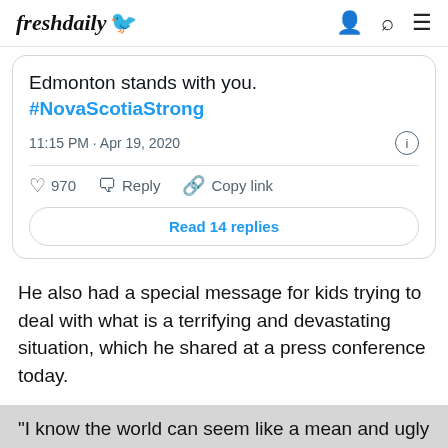freshdaily
[Figure (screenshot): Embedded tweet screenshot showing text 'Edmonton stands with you. #NovaScotiaStrong', timestamp '11:15 PM · Apr 19, 2020', with 970 likes, Reply and Copy link actions, and a 'Read 14 replies' button.]
He also had a special message for kids trying to deal with what is a terrifying and devastating situation, which he shared at a press conference today.
"I know the world can seem like a mean and ugly place right now, but there's a whole lot of good in the world too. You'll see it in your neighbours and in Canadians in